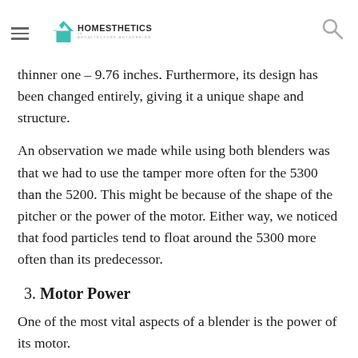Homesthetics – Architecture Art & Design
thinner one – 9.76 inches. Furthermore, its design has been changed entirely, giving it a unique shape and structure.
An observation we made while using both blenders was that we had to use the tamper more often for the 5300 than the 5200. This might be because of the shape of the pitcher or the power of the motor. Either way, we noticed that food particles tend to float around the 5300 more often than its predecessor.
3. Motor Power
One of the most vital aspects of a blender is the power of its motor.